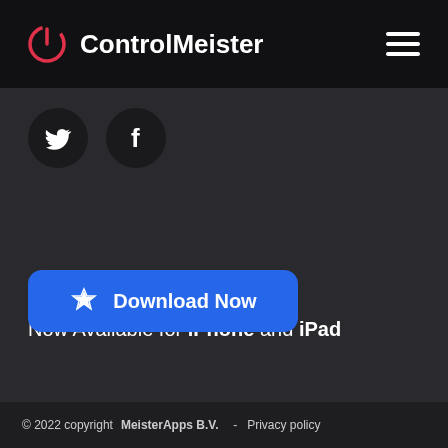ControlMeister
[Figure (logo): Twitter bird icon in dark circle and Facebook f icon in dark circle]
Now Available for iPhone and iPad
[Figure (other): Blue Download Now button with App Store icon]
© 2022 copyright MeisterApps B.V.  -  Privacy policy